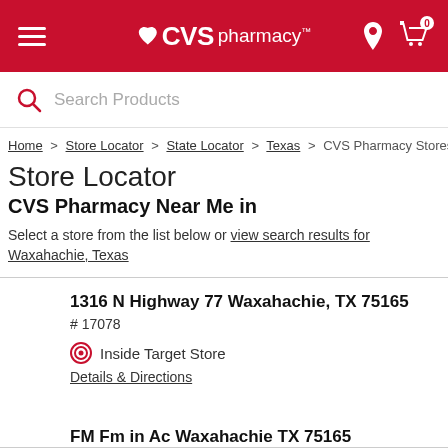CVS pharmacy
Search Products
Home > Store Locator > State Locator > Texas > CVS Pharmacy Stores in
Store Locator
CVS Pharmacy Near Me in
Select a store from the list below or view search results for Waxahachie, Texas
1316 N Highway 77 Waxahachie, TX 75165
# 17078
Inside Target Store
Details & Directions